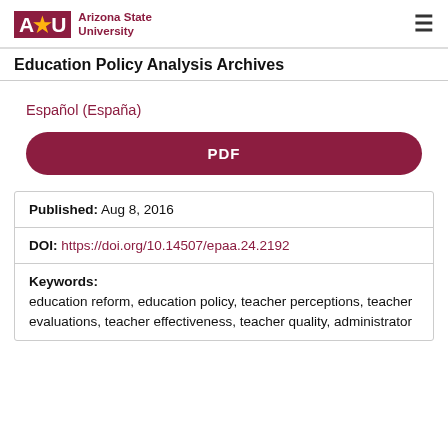ASU Arizona State University | Education Policy Analysis Archives
Español (España)
PDF
| Published: | Aug 8, 2016 |
| DOI: | https://doi.org/10.14507/epaa.24.2192 |
| Keywords: | education reform, education policy, teacher perceptions, teacher evaluations, teacher effectiveness, teacher quality, administrator |